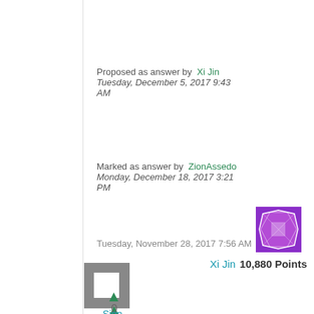Proposed as answer by  Xi Jin  Tuesday, December 5, 2017 9:43 AM
Marked as answer by  ZionAssedo  Monday, December 18, 2017 3:21 PM
Tuesday, November 28, 2017 7:56 AM
[Figure (illustration): Purple and white decorative avatar icon for user Xi Jin]
Xi Jin  10,880 Points
[Figure (illustration): Gray square icon with white square inside (comment/answer icon)]
0
Sign